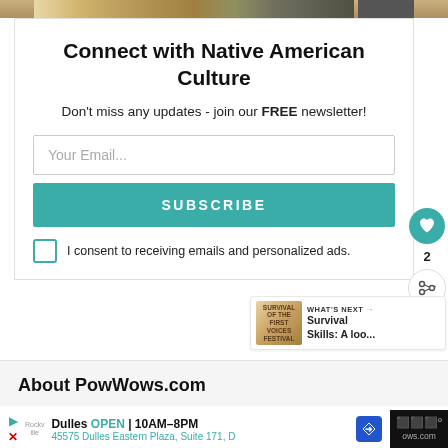[Figure (photo): Top portion of a person with decorative headdress or hair, cropped at top of page]
Connect with Native American Culture
Don't miss any updates - join our FREE newsletter!
Your Email...
SUBSCRIBE
I consent to receiving emails and personalized ads.
2
WHAT'S NEXT → Survival Skills: A loo...
About PowWows.com
Dulles OPEN | 10AM–8PM 45575 Dulles Eastern Plaza, Suite 171, D